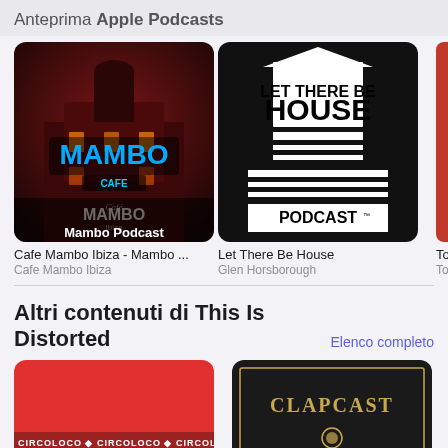Anteprima Apple Podcasts
[Figure (screenshot): Podcast thumbnail for Cafe Mambo Ibiza - Mambo Podcast showing neon Mambo Cafe sign at night]
Cafe Mambo Ibiza - Mambo ...
Cafe Mambo Ibiza
[Figure (screenshot): Podcast thumbnail for Let There Be House with black and white graphic design]
Let There Be House
Glen Horsborough
[Figure (screenshot): Partially visible podcast thumbnail for a third podcast (To...)]
Altri contenuti di This Is Distorted
Elenco completo
[Figure (screenshot): Circoloco podcast artwork - red background with CIRCOLOCO text]
[Figure (screenshot): Clapcast podcast artwork - dark background with CLAPCAST text in gold]
[Figure (screenshot): Partially visible third podcast thumbnail in bottom row (blue)]